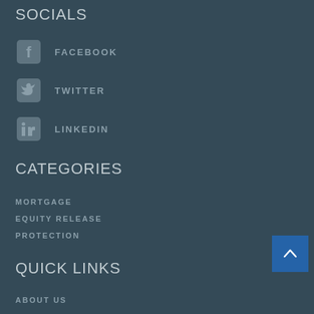SOCIALS
FACEBOOK
TWITTER
LINKEDIN
CATEGORIES
MORTGAGE
EQUITY RELEASE
PROTECTION
QUICK LINKS
ABOUT US